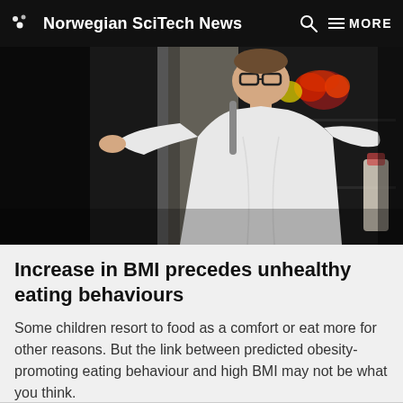Norwegian SciTech News  Q  MORE
[Figure (photo): Person in white t-shirt opening a refrigerator at night, visible vegetables and food inside the fridge, dark background]
Increase in BMI precedes unhealthy eating behaviours
Some children resort to food as a comfort or eat more for other reasons. But the link between predicted obesity-promoting eating behaviour and high BMI may not be what you think.